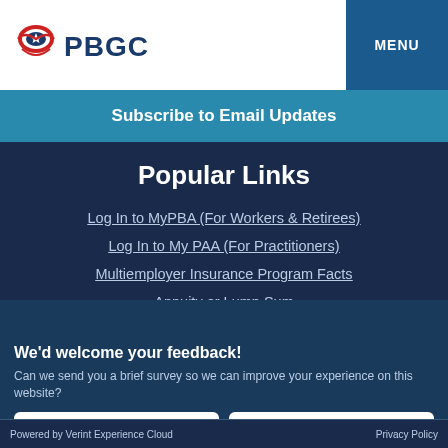[Figure (logo): PBGC logo with eagle/shield icon and blue PBGC text]
MENU
Subscribe to Email Updates
Popular Links
Log In to MyPBA (For Workers & Retirees)
Log In to My PAA (For Practitioners)
Multiemployer Insurance Program Facts
Annuity or Lump Sum
We'd welcome your feedback!
Can we send you a brief survey so we can improve your experience on this website?
Text me
Email me
Powered by Verint Experience Cloud   Privacy Policy